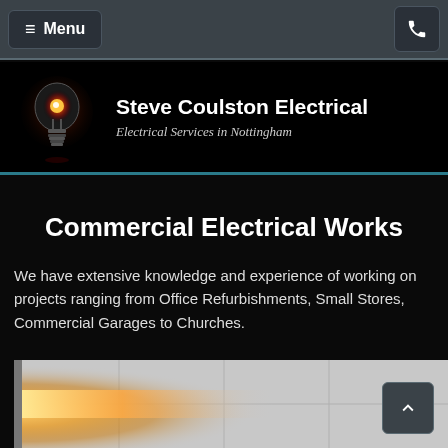≡ Menu  [phone icon]
[Figure (logo): Steve Coulston Electrical logo with glowing lightbulb on black background. Text reads 'Steve Coulston Electrical' and 'Electrical Services in Nottingham']
Commercial Electrical Works
We have extensive knowledge and experience of working on projects ranging from Office Refurbishments, Small Stores, Commercial Garages to Churches.
[Figure (photo): Ceiling with recessed lighting panels, warm amber light on the left transitioning to a grey tiled ceiling]